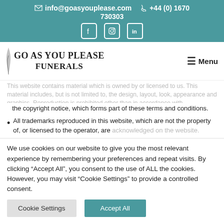info@goasyouplease.com  +44 (0) 1670 730303
[Figure (logo): Go As You Please Funerals logo with feather icon and Menu button]
This website contains material which is owned by or licensed to us. This material includes, but is not limited to, the design, layout, look, appearance and graphics. Reproduction is prohibited other than in accordance with the copyright notice, which forms part of these terms and conditions.
the copyright notice, which forms part of these terms and conditions.
All trademarks reproduced in this website, which are not the property of, or licensed to the operator, are acknowledged on the website.
We use cookies on our website to give you the most relevant experience by remembering your preferences and repeat visits. By clicking “Accept All”, you consent to the use of ALL the cookies. However, you may visit "Cookie Settings" to provide a controlled consent.